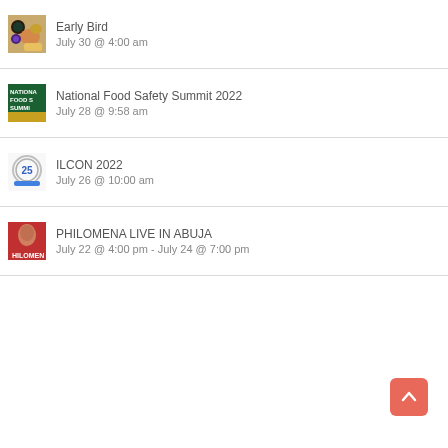Early Bird
July 30 @ 4:00 am
National Food Safety Summit 2022
July 28 @ 9:58 am
ILCON 2022
July 26 @ 10:00 am
PHILOMENA LIVE IN ABUJA
July 22 @ 4:00 pm - July 24 @ 7:00 pm